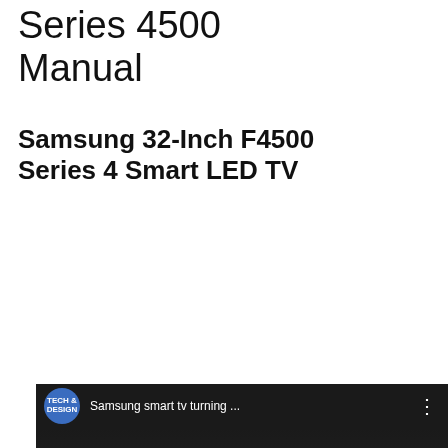Series 4500 Manual
Samsung 32-Inch F4500 Series 4 Smart LED TV
[Figure (screenshot): YouTube thumbnail screenshot showing a Samsung Smart TV setup video by Tech & Design channel. Title reads 'Samsung smart tv turning ...' with large white text overlaid: 'AMSUNG', 'V', 'ETUP' on a dark background with Samsung Smart TV app grid visible. A red YouTube play button is centered.]